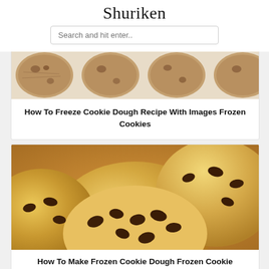Shuriken
Search and hit enter..
[Figure (photo): Close-up photo of oatmeal cookies with chocolate chips on a white surface, viewed from above]
How To Freeze Cookie Dough Recipe With Images Frozen Cookies
[Figure (photo): Close-up photo of chocolate chip cookie dough balls with large chocolate chips on top, warm golden brown color]
How To Make Frozen Cookie Dough Frozen Cookie